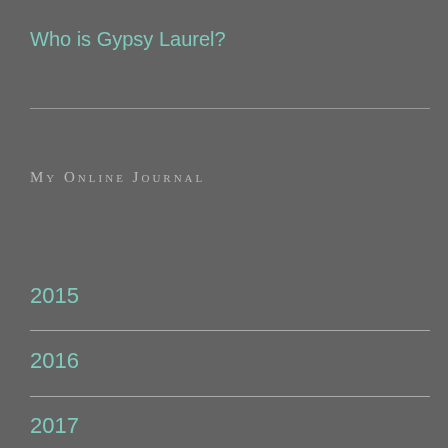Who is Gypsy Laurel?
MY ONLINE JOURNAL
2015
2016
2017
2018
2019
2020